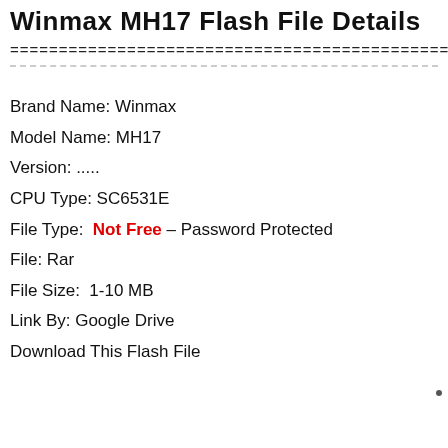Winmax MH17 Flash File Details
Brand Name: Winmax
Model Name: MH17
Version: .....
CPU Type: SC6531E
File Type: Not Free – Password Protected
File: Rar
File Size:  1-10 MB
Link By: Google Drive
Download This Flash File